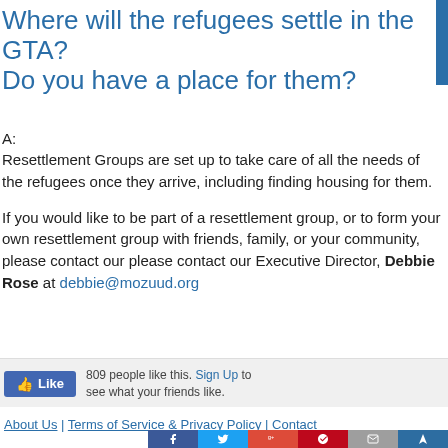Where will the refugees settle in the GTA? Do you have a place for them?
A:
Resettlement Groups are set up to take care of all the needs of the refugees once they arrive, including finding housing for them.
If you would like to be part of a resettlement group, or to form your own resettlement group with friends, family, or your community, please contact our please contact our Executive Director, Debbie Rose at debbie@mozuud.org
[Figure (screenshot): Facebook Like button showing 809 people like this, with Sign Up link and friends like text]
About Us | Terms of Service & Privacy Policy | Contact
[Figure (infographic): Social sharing bar with Facebook, Twitter, Google+, Pinterest, Email, and another share button icons. Shares label on left.]